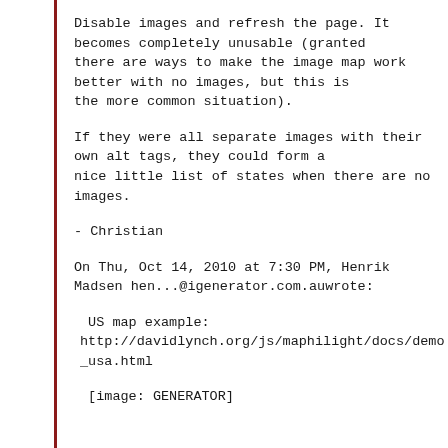Disable images and refresh the page. It becomes completely unusable (granted there are ways to make the image map work better with no images, but this is the more common situation).
If they were all separate images with their own alt tags, they could form a nice little list of states when there are no images.
- Christian
On Thu, Oct 14, 2010 at 7:30 PM, Henrik Madsen hen...@igenerator.com.auwrote:
US map example:
http://davidlynch.org/js/maphilight/docs/demo_usa.html
[image: GENERATOR]